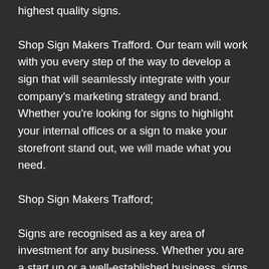highest quality signs.
Shop Sign Makers Trafford. Our team will work with you every step of the way to develop a sign that will seamlessly integrate with your company's marketing strategy and brand. Whether you're looking for signs to highlight your internal offices or a sign to make your storefront stand out, we will made what you need.
Shop Sign Makers Trafford;
Signs are recognised as a key area of investment for any business. Whether you are a start up or a well-established business, signs are critical in delivering a positive first impression. Signage provides confidence to customers and acts as a major selling point for your business. For shops on the high street, signage promotes curiosity and makes potential customers want to come and have a look inside. Signage is a must for